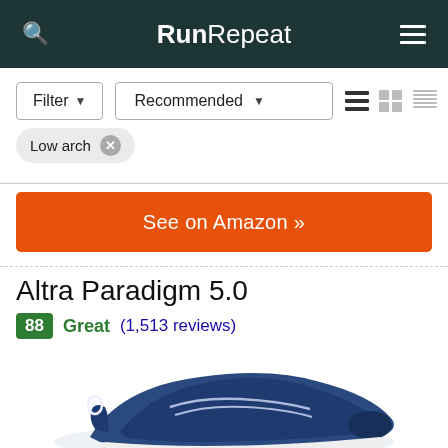RunRepeat
Filter  Recommended
Low arch  ×
See on Amazon »
Altra Paradigm 5.0
88  Great (1,513 reviews)
[Figure (photo): Blue Altra Paradigm 5.0 running shoe, partially shown from the side, on white background]